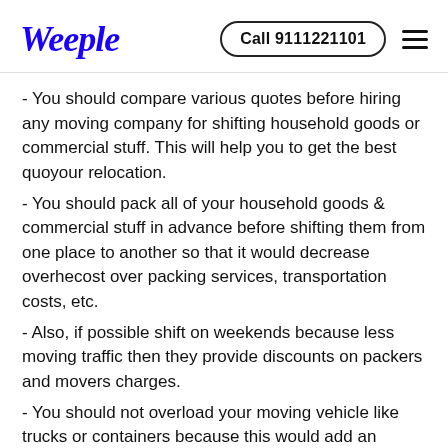Weeple | Call 9111221101
- You should compare various quotes before hiring any moving company for shifting household goods or commercial stuff. This will help you to get the best quoyour relocation.
- You should pack all of your household goods & commercial stuff in advance before shifting them from one place to another so that it would decrease overhecost over packing services, transportation costs, etc.
- Also, if possible shift on weekends because less moving traffic then they provide discounts on packers and movers charges.
- You should not overload your moving vehicle like trucks or containers because this would add an